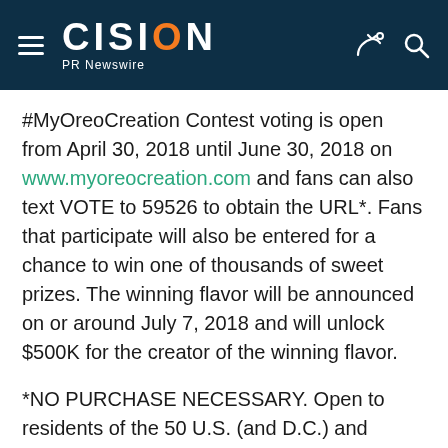CISION PR Newswire
#MyOreoCreation Contest voting is open from April 30, 2018 until June 30, 2018 on www.myoreocreation.com and fans can also text VOTE to 59526 to obtain the URL*.  Fans that participate will also be entered for a chance to win one of thousands of sweet prizes.  The winning flavor will be announced on or around July 7, 2018 and will unlock $500K for the creator of the winning flavor.
*NO PURCHASE NECESSARY. Open to residents of the 50 U.S. (and D.C.) and Puerto Rico, 18 and older. Sponsor, related entities, their families and those living in the same household are ineligible. Ends N...